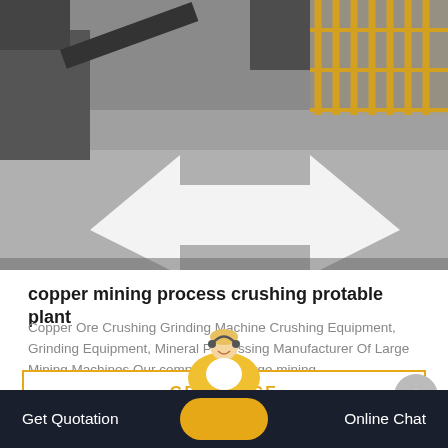[Figure (photo): Industrial/mining facility photo showing a large paved surface with a white arrow marking, industrial buildings and yellow safety fencing in the background]
copper mining process crushing protable plant
Copper Ore Crushing Grinding Machine Crushing Equipment, Grinding Equipment, Mineral Processing Manufacturer Of Large Mining Machines Our company is a large mining…
GET PRICE
[Figure (photo): Mining equipment yard showing machinery including a red/orange crusher unit and stacked metal components]
Get Quotation   Online Chat